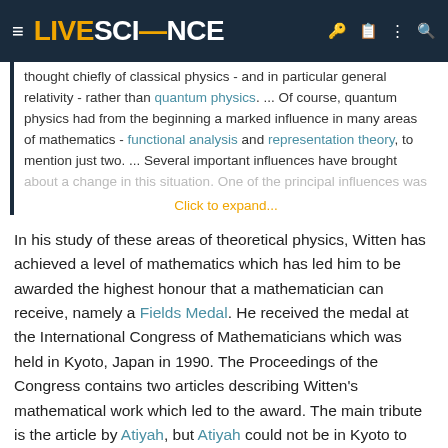LIVESCIENCE
thought chiefly of classical physics - and in particular general relativity - rather than quantum physics. ... Of course, quantum physics had from the beginning a marked influence in many areas of mathematics - functional analysis and representation theory, to mention just two. ... Several important influences have brought about a change in this situation. One of the principal influences was
Click to expand...
In his study of these areas of theoretical physics, Witten has achieved a level of mathematics which has led him to be awarded the highest honour that a mathematician can receive, namely a Fields Medal. He received the medal at the International Congress of Mathematicians which was held in Kyoto, Japan in 1990. The Proceedings of the Congress contains two articles describing Witten's mathematical work which led to the award. The main tribute is the article by Atiyah, but Atiyah could not be in Kyoto to deliver the address so the address at the Congress was delivered by Faddeev who quotes freely from Atiyah.